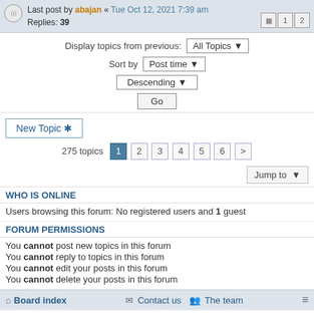Last post by abajan « Tue Oct 12, 2021 7:39 am
Replies: 39
Display topics from previous: All Topics
Sort by Post time
Descending
Go
New Topic
275 topics  1  2  3  4  5  6  >
Jump to
WHO IS ONLINE
Users browsing this forum: No registered users and 1 guest
FORUM PERMISSIONS
You cannot post new topics in this forum
You cannot reply to topics in this forum
You cannot edit your posts in this forum
You cannot delete your posts in this forum
Board index   Contact us   The team
Powered by phpBB® Forum Software © phpBB Limited